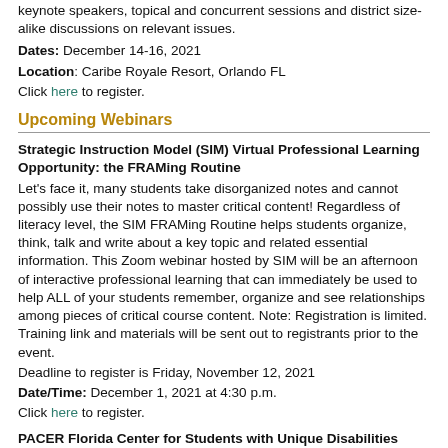keynote speakers, topical and concurrent sessions and district size-alike discussions on relevant issues.
Dates: December 14-16, 2021
Location: Caribe Royale Resort, Orlando FL
Click here to register.
Upcoming Webinars
Strategic Instruction Model (SIM) Virtual Professional Learning Opportunity: the FRAMing Routine
Let's face it, many students take disorganized notes and cannot possibly use their notes to master critical content! Regardless of literacy level, the SIM FRAMing Routine helps students organize, think, talk and write about a key topic and related essential information. This Zoom webinar hosted by SIM will be an afternoon of interactive professional learning that can immediately be used to help ALL of your students remember, organize and see relationships among pieces of critical course content. Note: Registration is limited. Training link and materials will be sent out to registrants prior to the event.
Deadline to register is Friday, November 12, 2021
Date/Time: December 1, 2021 at 4:30 p.m.
Click here to register.
PACER Florida Center for Students with Unique Disabilities (FCSUA): Eligibility for Opportunity: How students enter Florida Postsecondary Comprehensive Transition